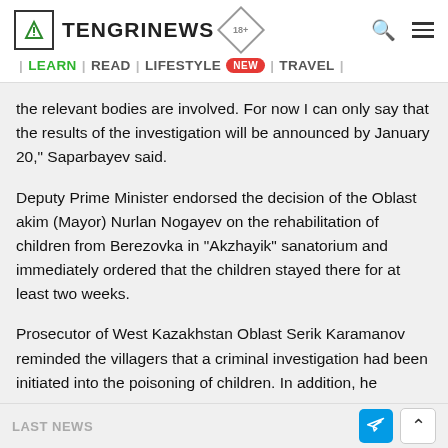TENGRINEWS | LEARN | READ | LIFESTYLE NEW | TRAVEL
the relevant bodies are involved. For now I can only say that the results of the investigation will be announced by January 20," Saparbayev said.
Deputy Prime Minister endorsed the decision of the Oblast akim (Mayor) Nurlan Nogayev on the rehabilitation of children from Berezovka in “Akzhayik” sanatorium and immediately ordered that the children stayed there for at least two weeks.
Prosecutor of West Kazakhstan Oblast Serik Karamanov reminded the villagers that a criminal investigation had been initiated into the poisoning of children. In addition, he
LAST NEWS